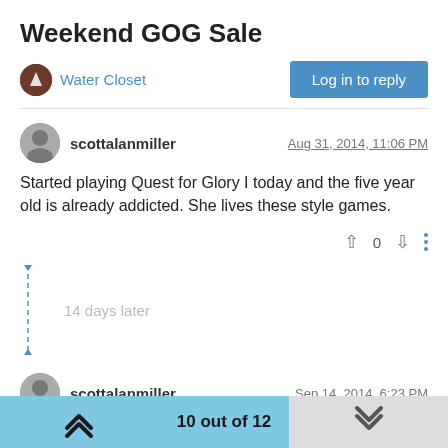Weekend GOG Sale
Water Closet
Log in to reply
scottalanmiller
Aug 31, 2014, 11:06 PM
Started playing Quest for Glory I today and the five year old is already addicted. She lives these style games.
0
14 days later
scottalanmiller
Sep 14, 2014, 6:23 PM
10 out of 12